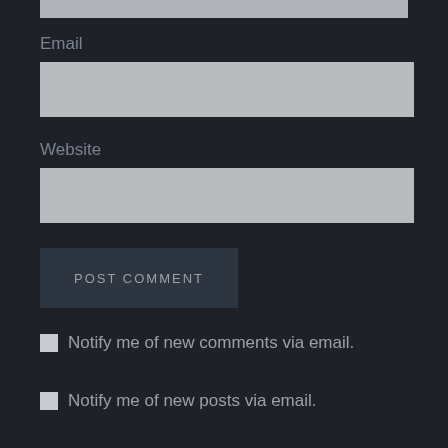Email
[Figure (other): Email text input field (gray rectangle)]
Website
[Figure (other): Website text input field (gray rectangle)]
POST COMMENT
Notify me of new comments via email.
Notify me of new posts via email.